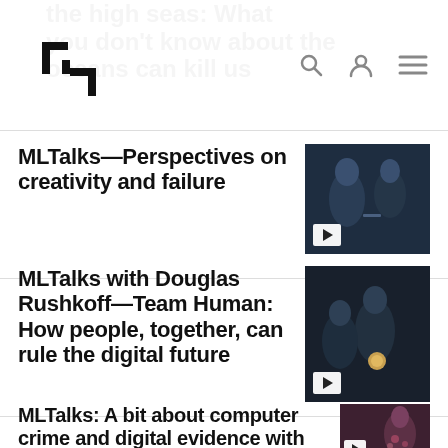ML Talks navigation header with logo, search, profile and menu icons
the high seas: What you don't know about the oceans can kill us
MLTalks—Perspectives on creativity and failure
MLTalks with Douglas Rushkoff—Team Human: How people, together, can rule the digital future
MLTalks: A bit about computer crime and digital evidence with Jan Fuller